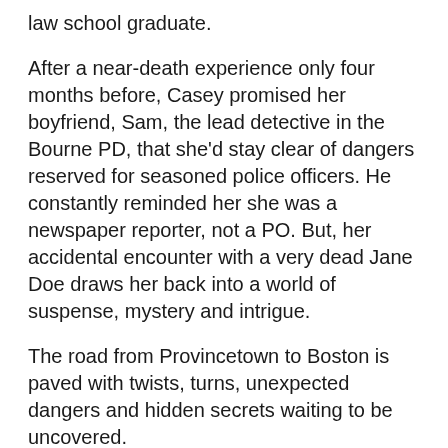law school graduate.
After a near-death experience only four months before, Casey promised her boyfriend, Sam, the lead detective in the Bourne PD, that she'd stay clear of dangers reserved for seasoned police officers. He constantly reminded her she was a newspaper reporter, not a PO. But, her accidental encounter with a very dead Jane Doe draws her back into a world of suspense, mystery and intrigue.
The road from Provincetown to Boston is paved with twists, turns, unexpected dangers and hidden secrets waiting to be uncovered.
Caught with a Quahog
Casey Quinby, head investigative reporter for the Cape Cod Tribune had worked with the Barnstable Police